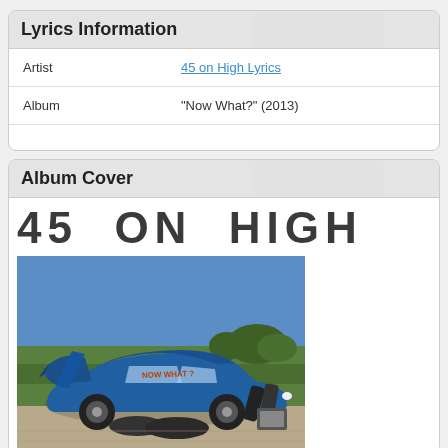Lyrics Information
|  |  |
| --- | --- |
| Artist | 45 on High Lyrics |
| Album | "Now What?" (2013) |
Album Cover
[Figure (photo): Album cover for 45 ON HIGH - 'Now What?' (2013). Large text '45 ON HIGH' at top. Below it a photo of a blue car parked on a dirt road with musical equipment including guitar cases and an amplifier outside. Text written on car windows reads 'NOW WHAT ?'. Green field and blue sky in background.]